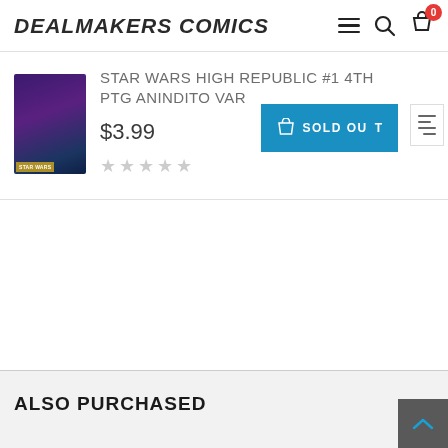DEALMAKERS COMICS
STAR WARS HIGH REPUBLIC #1 4TH PTG ANINDITO VAR
$3.99
SOLD OUT
ALSO PURCHASED